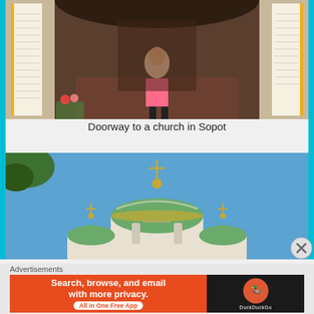[Figure (photo): A person in a pink tank top standing in a church doorway with illuminated white marble columns bearing inscriptions, flowers below, and people visible in the background passageway.]
Doorway to a church in Sopot
[Figure (photo): A church with green copper domes and a cross on top, photographed against a blue sky with tree branches visible at upper left.]
Advertisements
[Figure (screenshot): DuckDuckGo advertisement banner: 'Search, browse, and email with more privacy. All in One Free App' on orange background, with DuckDuckGo logo on dark background.]